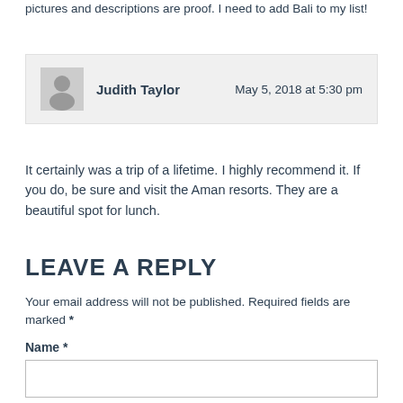pictures and descriptions are proof. I need to add Bali to my list!
Judith Taylor
May 5, 2018 at 5:30 pm
It certainly was a trip of a lifetime. I highly recommend it. If you do, be sure and visit the Aman resorts. They are a beautiful spot for lunch.
LEAVE A REPLY
Your email address will not be published. Required fields are marked *
Name *